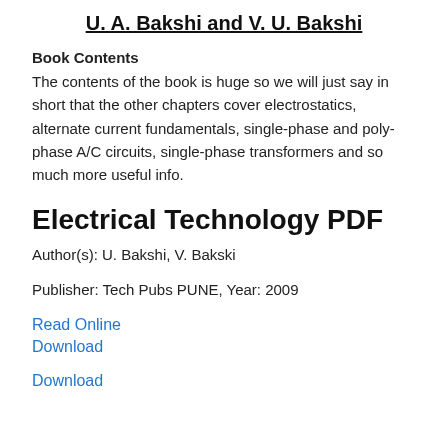U. A. Bakshi and V. U. Bakshi
Book Contents
The contents of the book is huge so we will just say in short that the other chapters cover electrostatics, alternate current fundamentals, single-phase and poly-phase A/C circuits, single-phase transformers and so much more useful info.
Electrical Technology PDF
Author(s): U. Bakshi, V. Bakski
Publisher: Tech Pubs PUNE, Year: 2009
Read Online
Download
Download